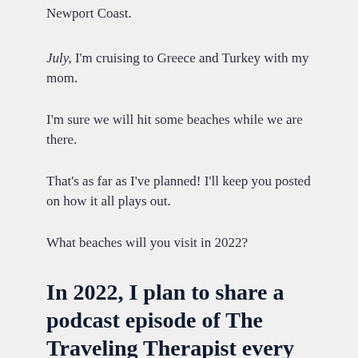Newport Coast.
July, I'm cruising to Greece and Turkey with my mom.
I'm sure we will hit some beaches while we are there.
That's as far as I've planned! I'll keep you posted on how it all plays out.
What beaches will you visit in 2022?
In 2022, I plan to share a podcast episode of The Traveling Therapist every single week!!
Yes! I started a Podcast. It launches today!
Check out the first episode here.